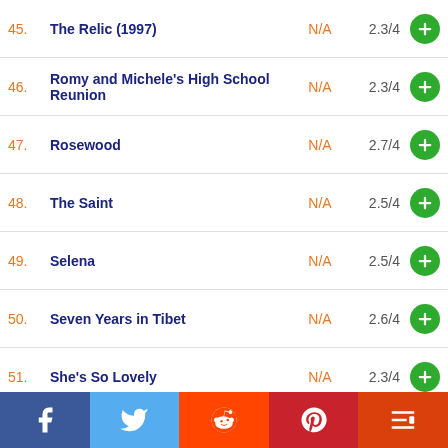45. The Relic (1997) — N/A — 2.3/4
46. Romy and Michele's High School Reunion — N/A — 2.3/4
47. Rosewood — N/A — 2.7/4
48. The Saint — N/A — 2.5/4
49. Selena — N/A — 2.5/4
50. Seven Years in Tibet — N/A — 2.6/4
51. She's So Lovely — N/A — 2.3/4
52. Soul Food — N/A — 2.5/4
53. Spawn — N/A — 2.1/4
54. Speed 2: Cruise Control — N/A — 1.4/4
55. Steel (1997) — N/A — 1.2/4